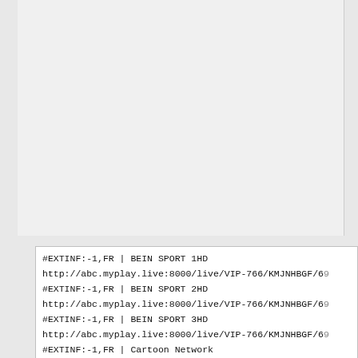[Figure (screenshot): White/light gray blank area at top of page, appears to be a scrolled document or application window content area]
#EXTINF:-1,FR | BEIN SPORT 1HD
http://abc.myplay.live:8000/live/VIP-766/KMJNHBGF/69
#EXTINF:-1,FR | BEIN SPORT 2HD
http://abc.myplay.live:8000/live/VIP-766/KMJNHBGF/69
#EXTINF:-1,FR | BEIN SPORT 3HD
http://abc.myplay.live:8000/live/VIP-766/KMJNHBGF/69
#EXTINF:-1,FR | Cartoon Network
http://abc.myplay.live:8000/live/VIP-766/KMJNHBGF/70